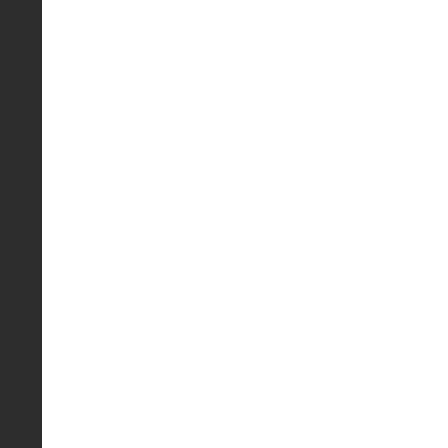Maybe you could be a good writer or articles in a newspaper – but your English class. Maybe you cou even good enough to come up with vaccine – but you might not know i Maybe you could be a mayor or a might not know that until you join s
And no matter what you want to do an education to do it. You want to b You want to be a nurse or an archi You're going to need a good educa You can't drop out of school and ju it and train for it and learn for it.
And this isn't just important for you make of your education will decide What you're learning in school toda meet our greatest challenges in the
You'll need the knowledge and pro math to cure diseases like cancer a technologies and protect our enviro thinking skills you gain in history a homelessness, crime and discrimin